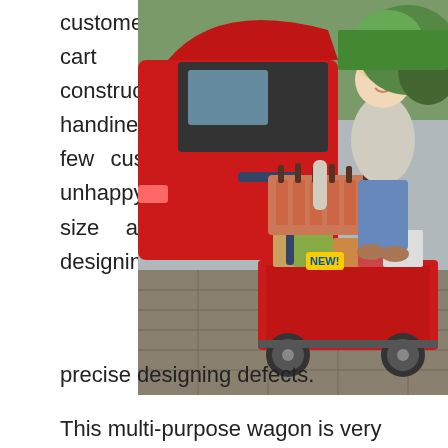customers love this cart for its construction and handiness. However few customers are unhappy with its size and precise designing defects.
[Figure (photo): A smiling woman standing next to a red hatchback car with its trunk open, loading groceries and beer bottles in a crate onto a red folding utility wagon on a stone driveway, with green shrubs in the background.]
This multi-purpose wagon is very lightweight, yet it has